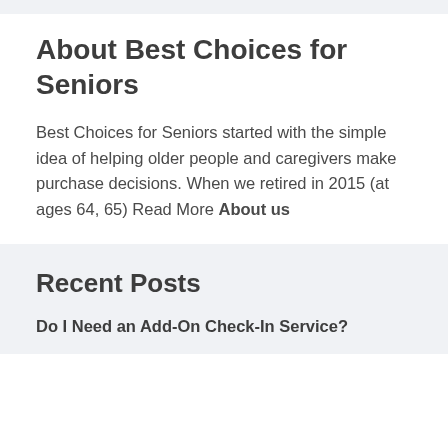About Best Choices for Seniors
Best Choices for Seniors started with the simple idea of helping older people and caregivers make purchase decisions. When we retired in 2015 (at ages 64, 65) Read More About us
Recent Posts
Do I Need an Add-On Check-In Service?